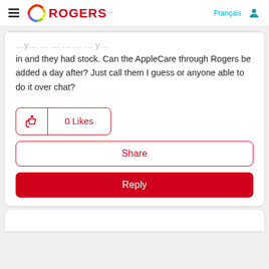Rogers — Français
in and they had stock. Can the AppleCare through Rogers be added a day after? Just call them I guess or anyone able to do it over chat?
0 Likes
Share
Reply